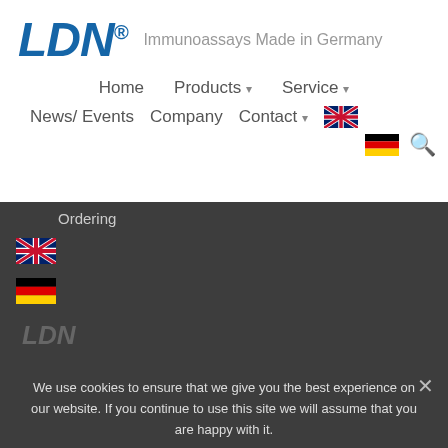[Figure (logo): LDN logo in bold blue italic text with registered trademark symbol, followed by tagline 'Immunoassays Made in Germany' in grey]
Home  Products ▾  Service ▾
News/ Events  Company  Contact ▾  [UK flag]
[DE flag] [search icon]
Ordering
[Figure (illustration): UK flag icon small]
[Figure (illustration): German flag icon small]
LDN
We use cookies to ensure that we give you the best experience on our website. If you continue to use this site we will assume that you are happy with it.
Ok  Privacy policy